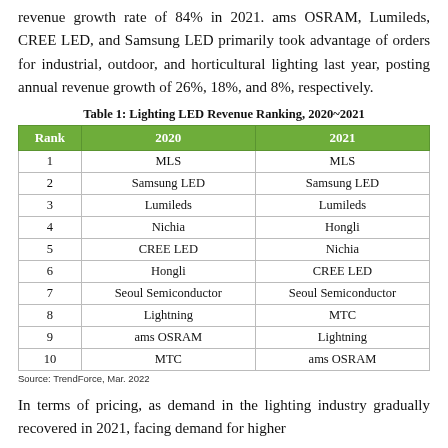revenue growth rate of 84% in 2021. ams OSRAM, Lumileds, CREE LED, and Samsung LED primarily took advantage of orders for industrial, outdoor, and horticultural lighting last year, posting annual revenue growth of 26%, 18%, and 8%, respectively.
Table 1: Lighting LED Revenue Ranking, 2020~2021
| Rank | 2020 | 2021 |
| --- | --- | --- |
| 1 | MLS | MLS |
| 2 | Samsung LED | Samsung LED |
| 3 | Lumileds | Lumileds |
| 4 | Nichia | Hongli |
| 5 | CREE LED | Nichia |
| 6 | Hongli | CREE LED |
| 7 | Seoul Semiconductor | Seoul Semiconductor |
| 8 | Lightning | MTC |
| 9 | ams OSRAM | Lightning |
| 10 | MTC | ams OSRAM |
Source: TrendForce, Mar. 2022
In terms of pricing, as demand in the lighting industry gradually recovered in 2021, facing demand for higher